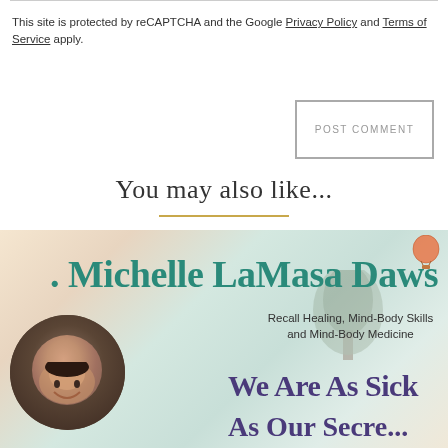This site is protected by reCAPTCHA and the Google Privacy Policy and Terms of Service apply.
POST COMMENT
You may also like...
[Figure (photo): Book cover and author photo for Dr. Michelle LaMasa Dawson featuring a circular headshot of a woman smiling, text reading 'Recall Healing, Mind-Body Skills and Mind-Body Medicine', and title 'We Are As Sick As Our Secrets' in purple. Background shows soft pastel sky with hot air balloon.]